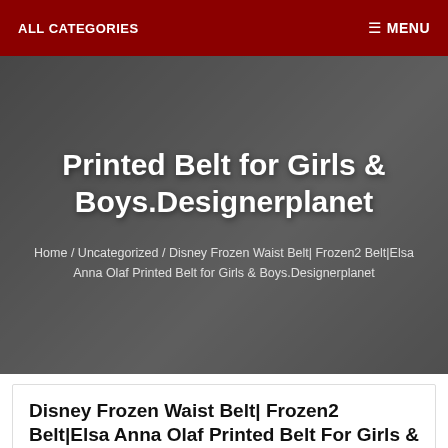ALL CATEGORIES   MENU
Printed Belt for Girls & Boys.Designerplanet
Home / Uncategorized / Disney Frozen Waist Belt| Frozen2 Belt|Elsa Anna Olaf Printed Belt for Girls & Boys.Designerplanet
Disney Frozen Waist Belt| Frozen2 Belt|Elsa Anna Olaf Printed Belt For Girls & Boys.Designerplanet
admin   Uncategorized   Comments Off